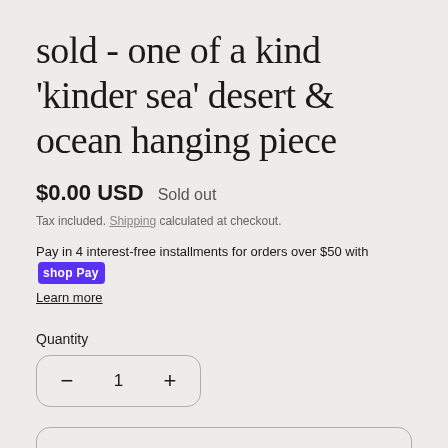sold - one of a kind 'kinder sea' desert & ocean hanging piece
$0.00 USD   Sold out
Tax included. Shipping calculated at checkout.
Pay in 4 interest-free installments for orders over $50 with shop Pay
Learn more
Quantity
— 1 +
Sold out
each & every piece of these wall hangings are cut